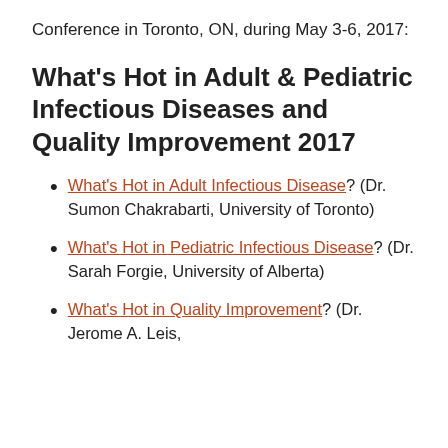Conference in Toronto, ON, during May 3-6, 2017:
What's Hot in Adult & Pediatric Infectious Diseases and Quality Improvement 2017
What's Hot in Adult Infectious Disease? (Dr. Sumon Chakrabarti, University of Toronto)
What's Hot in Pediatric Infectious Disease? (Dr. Sarah Forgie, University of Alberta)
What's Hot in Quality Improvement? (Dr. Jerome A. Leis,